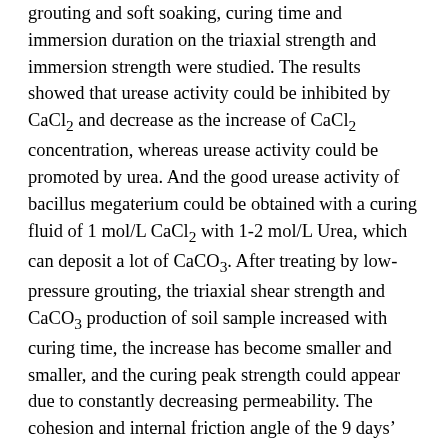grouting and soft soaking, curing time and immersion duration on the triaxial strength and immersion strength were studied. The results showed that urease activity could be inhibited by CaCl2 and decrease as the increase of CaCl2 concentration, whereas urease activity could be promoted by urea. And the good urease activity of bacillus megaterium could be obtained with a curing fluid of 1 mol/L CaCl2 with 1-2 mol/L Urea, which can deposit a lot of CaCO3. After treating by low-pressure grouting, the triaxial shear strength and CaCO3 production of soil sample increased with curing time, the increase has become smaller and smaller, and the curing peak strength could appear due to constantly decreasing permeability. The cohesion and internal friction angle of the 9 days' low-pressure grouting curing sample increased by 203.9% and 21.5% (81kPa, 31.59°) compared with nature sample, respectively. MICP technology can improve corrosion resistance of soil. After 32 h immersion, the collapse ratio, immersion unconfined compressive strength and strength loss rate of 7 days' low-pressure grouting curing sample were reduced by 5.1 percentage points (3.54%), increased by 223.7% (108.1 kPa) and reduced by 36.5